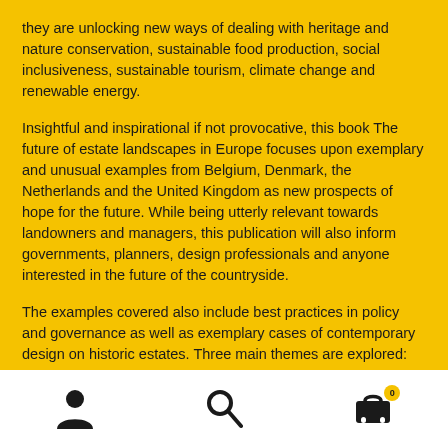they are unlocking new ways of dealing with heritage and nature conservation, sustainable food production, social inclusiveness, sustainable tourism, climate change and renewable energy.
Insightful and inspirational if not provocative, this book The future of estate landscapes in Europe focuses upon exemplary and unusual examples from Belgium, Denmark, the Netherlands and the United Kingdom as new prospects of hope for the future. While being utterly relevant towards landowners and managers, this publication will also inform governments, planners, design professionals and anyone interested in the future of the countryside.
The examples covered also include best practices in policy and governance as well as exemplary cases of contemporary design on historic estates. Three main themes are explored: